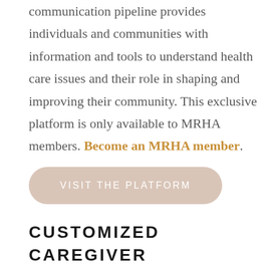communication pipeline provides individuals and communities with information and tools to understand health care issues and their role in shaping and improving their community. This exclusive platform is only available to MRHA members. Become an MRHA member.
VISIT THE PLATFORM
CUSTOMIZED CAREGIVER TRAINING AND RELIEF PROGRAM OFFERS